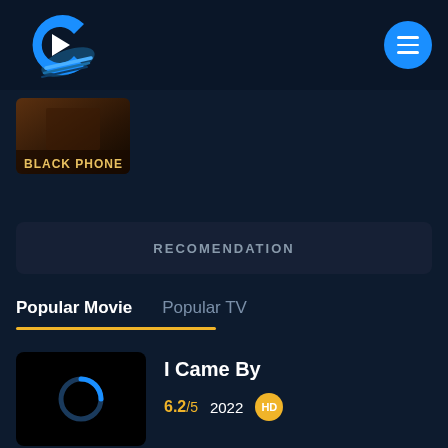[Figure (logo): Streaming app logo: blue 'C' shape with play triangle and film strip shadow]
[Figure (illustration): Circular blue menu/hamburger button with three horizontal white lines]
[Figure (photo): Movie thumbnail for 'Black Phone' showing a dark atmospheric image with bold text 'BLACK PHONE']
RECOMENDATION
Popular Movie
Popular TV
[Figure (illustration): Movie poster placeholder for 'I Came By' showing a loading spinner icon on black background]
I Came By
6.2/5  2022  HD